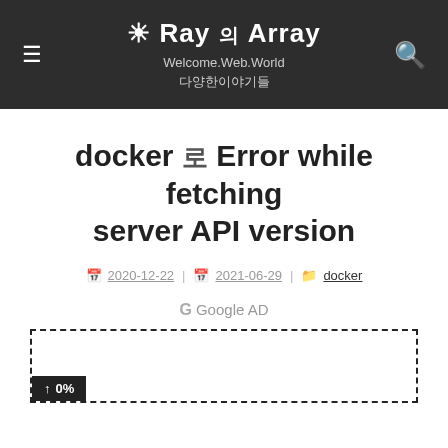☀ Ray 의 Array
Welcome.Web.World
다양한이야기들
docker 로 Error while fetching server API version
2020-12-22 | 2021-06-29 | docker
G Google AD
[Figure (other): Dashed border advertisement box with a dark badge showing '↑ 0%' in the bottom-left corner]